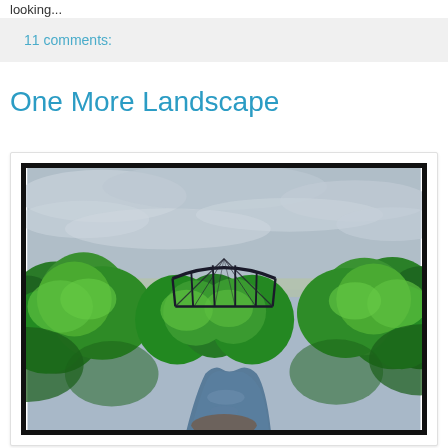looking...
11 comments:
One More Landscape
[Figure (photo): Outdoor landscape photograph showing a metal truss bridge barely visible above lush green trees, with a river or creek below reflecting the scene, and a cloudy overcast sky above. The photo has a thick black border/frame.]